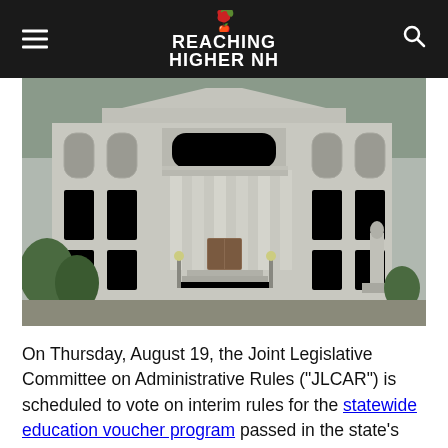REACHING HIGHER NH
[Figure (photo): Photograph of a large neoclassical government building (New Hampshire State House) with columns, arched windows, and a statue visible on the right side. Trees and shrubs in the foreground.]
On Thursday, August 19, the Joint Legislative Committee on Administrative Rules (“JLCAR”) is scheduled to vote on interim rules for the statewide education voucher program passed in the state’s budget bill in June. The interim rules will set requirements for the independent scholarship organization to administer the program, which creates taxpayer-funded “Education Freedom Accounts” for eligible families to use on private and religious